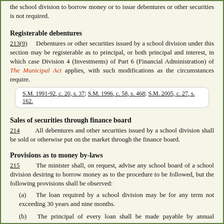the school division to borrow money or to issue debentures or other securities is not required.
Registerable debentures
213(9)   Debentures or other securities issued by a school division under this section may be registerable as to principal, or both principal and interest, in which case Division 4 (Investments) of Part 6 (Financial Administration) of The Municipal Act applies, with such modifications as the circumstances require.
S.M. 1991-92, c. 20, s. 37; S.M. 1996, c. 58, s. 468; S.M. 2005, c. 27, s. 162.
Sales of securities through finance board
214   All debentures and other securities issued by a school division shall be sold or otherwise put on the market through the finance board.
Provisions as to money by-laws
215   The minister shall, on request, advise any school board of a school division desiring to borrow money as to the procedure to be followed, but the following provisions shall be observed:
(a) The loan required by a school division may be for any term not exceeding 30 years and nine months.
(b) The principal of every loan shall be made payable by annual instalments but the first instalment may be made payable at any time within 21 months from the date of the debentures.